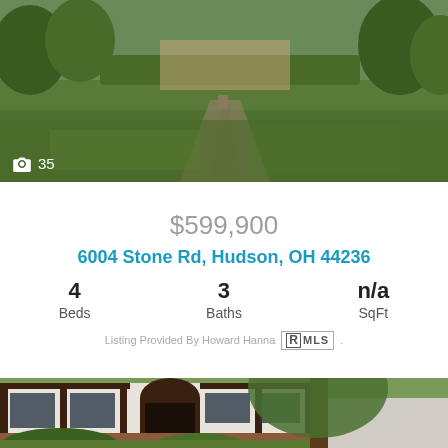[Figure (photo): Exterior photo of a house with green lawn and landscaping, viewed from front driveway]
📷 35
$599,900
6004 Stone Rd, Hudson, OH 44236
4 Beds  3 Baths  n/a SqFt
Listing Provided By Howard Hanna MLS
[Figure (photo): Tudor style house exterior with dark wood beams, white stucco, brick accents, and large trees in front]